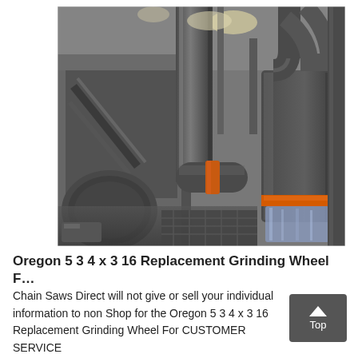[Figure (photo): Industrial grinding/milling facility interior showing large dark metal pipes, ductwork, a cylindrical tank or separator with an orange band and blue plastic sheeting at bottom, structural steel framework, and industrial equipment in the background.]
Oregon 5 3 4 x 3 16 Replacement Grinding Wheel F…
Chain Saws Direct will not give or sell your individual information to non Shop for the Oregon 5 3 4 x 3 16 Replacement Grinding Wheel For CUSTOMER SERVICE